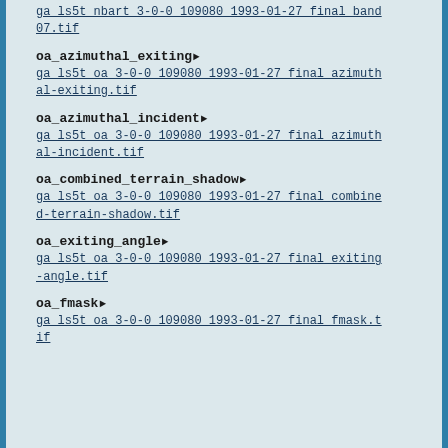ga ls5t nbart 3-0-0 109080 1993-01-27 final band 07.tif
oa_azimuthal_exiting
ga ls5t oa 3-0-0 109080 1993-01-27 final azimuthal-exiting.tif
oa_azimuthal_incident
ga ls5t oa 3-0-0 109080 1993-01-27 final azimuthal-incident.tif
oa_combined_terrain_shadow
ga ls5t oa 3-0-0 109080 1993-01-27 final combined-terrain-shadow.tif
oa_exiting_angle
ga ls5t oa 3-0-0 109080 1993-01-27 final exiting-angle.tif
oa_fmask
ga ls5t oa 3-0-0 109080 1993-01-27 final fmask.tif